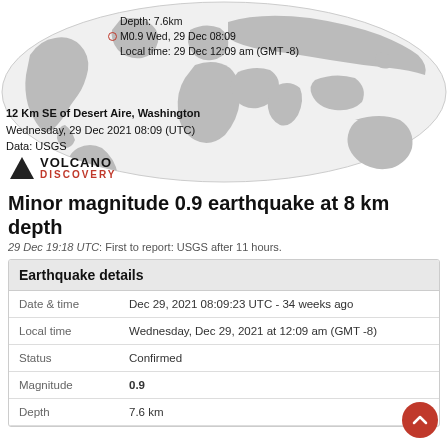[Figure (map): World map in oval/ellipse projection showing earthquake location near Washington state, USA, with a red dot marker. Tooltip shows: Depth: 7.6km, M0.9 Wed, 29 Dec 08:09, Local time: 29 Dec 12:09 am (GMT -8)]
12 Km SE of Desert Aire, Washington
Wednesday, 29 Dec 2021 08:09 (UTC)
Data: USGS
[Figure (logo): Volcano Discovery logo with black triangle and text VOLCANO DISCOVERY]
Minor magnitude 0.9 earthquake at 8 km depth
29 Dec 19:18 UTC: First to report: USGS after 11 hours.
| Earthquake details |  |
| --- | --- |
| Date & time | Dec 29, 2021 08:09:23 UTC - 34 weeks ago |
| Local time | Wednesday, Dec 29, 2021 at 12:09 am (GMT -8) |
| Status | Confirmed |
| Magnitude | 0.9 |
| Depth | 7.6 km |